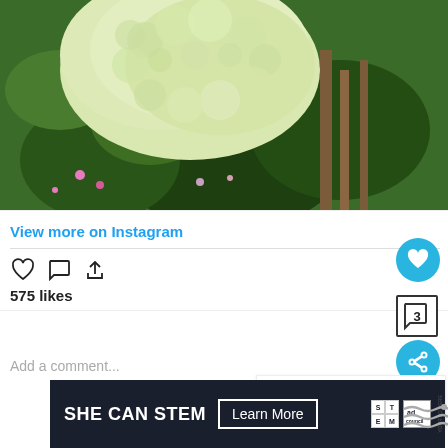[Figure (photo): Photograph of white/light green hydrangea flower in the foreground with a lush green garden background including trees and other plants]
View more on Instagram
[Figure (illustration): Instagram action icons: heart, comment bubble, share/upload arrow]
575 likes
Add a comment...
[Figure (illustration): WHAT'S NEXT arrow label with thumbnail of pink shrub and text: 15 Shrubs For Wet Clay Soi...]
[Figure (illustration): Advertisement banner: SHE CAN STEM Learn More, with STEM logo and Ad Council logo]